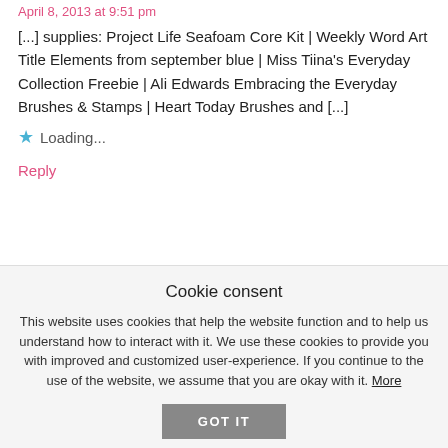April 8, 2013 at 9:51 pm
[...] supplies: Project Life Seafoam Core Kit | Weekly Word Art Title Elements from september blue | Miss Tiina's Everyday Collection Freebie | Ali Edwards Embracing the Everyday Brushes & Stamps | Heart Today Brushes and [...]
Loading...
Reply
Favorite Project Life Freebies | One Happy Mama says:
Cookie consent
This website uses cookies that help the website function and to help us understand how to interact with it. We use these cookies to provide you with improved and customized user-experience. If you continue to the use of the website, we assume that you are okay with it. More
GOT IT